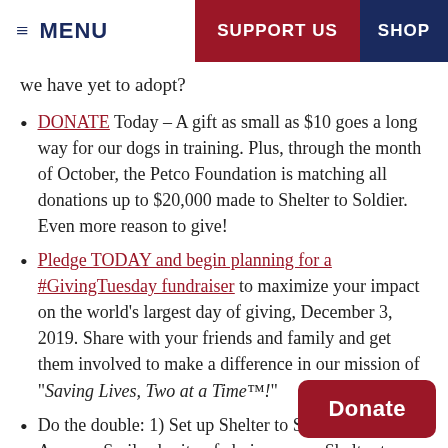≡ MENU  SUPPORT US  SHOP
we have yet to adopt?
DONATE Today – A gift as small as $10 goes a long way for our dogs in training. Plus, through the month of October, the Petco Foundation is matching all donations up to $20,000 made to Shelter to Soldier. Even more reason to give!
Pledge TODAY and begin planning for a #GivingTuesday fundraiser to maximize your impact on the world's largest day of giving, December 3, 2019. Share with your friends and family and get them involved to make a difference in our mission of "Saving Lives, Two at a Time™!"
Do the double: 1) Set up Shelter to S... your Amazon Smile charity of choi... Shelter to Soldier receives a donation from